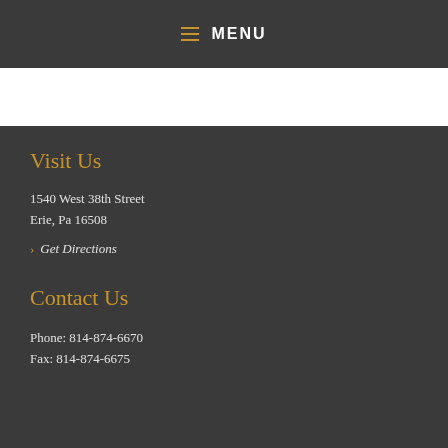MENU
Visit Us
1540 West 38th Street
Erie, Pa 16508
Get Directions
Contact Us
Phone: 814-874-6670
Fax: 814-874-6675